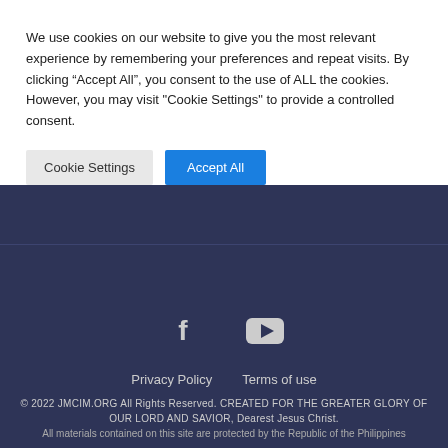We use cookies on our website to give you the most relevant experience by remembering your preferences and repeat visits. By clicking “Accept All”, you consent to the use of ALL the cookies. However, you may visit "Cookie Settings" to provide a controlled consent.
Cookie Settings
Accept All
[Figure (illustration): Facebook icon - white F on dark navy background]
[Figure (illustration): YouTube icon - white play button on dark navy background]
Privacy Policy
Terms of use
© 2022 JMCIM.ORG All Rights Reserved. CREATED FOR THE GREATER GLORY OF OUR LORD AND SAVIOR, Dearest Jesus Christ.
All materials contained on this site are protected by the Republic of the Philippines